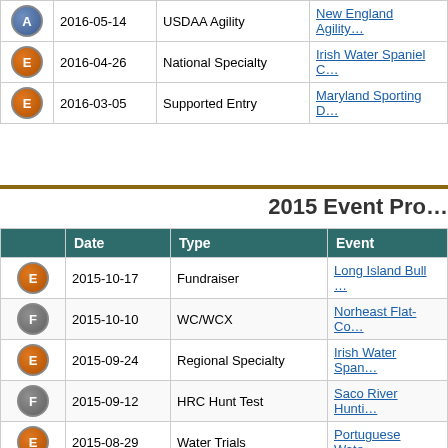|  | Date | Type | Event |
| --- | --- | --- | --- |
| A | 2016-05-14 | USDAA Agility | New England Agility... |
| E | 2016-04-26 | National Specialty | Irish Water Spaniel C... |
| E | 2016-03-05 | Supported Entry | Maryland Sporting D... |
2015 Event Pro...
|  | Date | Type | Event |
| --- | --- | --- | --- |
| E | 2015-10-17 | Fundraiser | Long Island Bull ... |
| F | 2015-10-10 | WC/WCX | Norheast Flat-Co... |
| E | 2015-09-24 | Regional Specialty | Irish Water Span... |
| F | 2015-09-12 | HRC Hunt Test | Saco River Hunti... |
| E | 2015-08-29 | Water Trials | Portuguese Wate... |
| E | 2015-08-22 | Water Trials | Nutmeg Portugue... |
| E | 2015-08-15 | Dock Diving | O'Leary's Dock D... |
| F | 2015-08-01 | AKC Hunt Test | Colonial Retrieve... |
| A | 2015-06-12 | AKC Agility | Cape Cod Kenne... |
| FA | 2015-05-26 | National Specialty | Irish Water Span... |
| A | 2015-05-15 | USDAA Agility | New England Agi... |
| F | 2015-04-12 | Hunt Test Training | Granite State Hu... |